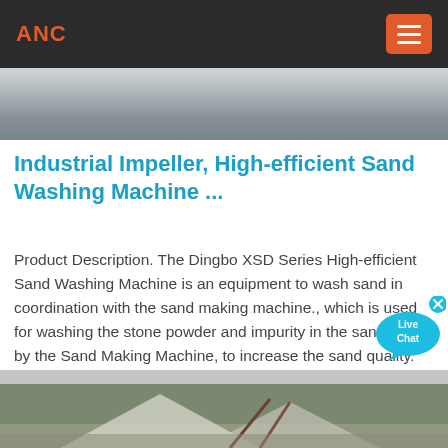ANC
[Figure (photo): Partial view of industrial machinery or site, grayscale/muted tones, top strip]
Industrial Impeller, High-efficient Sand Washing Machine ...
Product Description. The Dingbo XSD Series High-efficient Sand Washing Machine is an equipment to wash sand in coordination with the sand making machine., which is used for washing the stone powder and impurity in the sand made by the Sand Making Machine, to increase the sand quality.
[Figure (photo): Sand washing or mining site with large piles of sand/aggregate and machinery, partially visible at bottom of page]